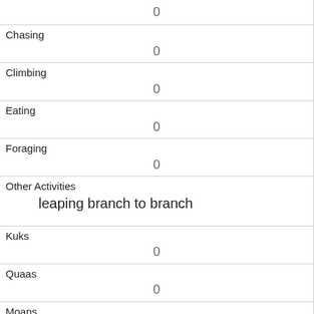|  | 0 |
| Chasing | 0 |
| Climbing | 0 |
| Eating | 0 |
| Foraging | 0 |
| Other Activities | leaping branch to branch |
| Kuks | 0 |
| Quaas | 0 |
| Moans | 0 |
| Tail flags | 0 |
| Tail twitches | 0 |